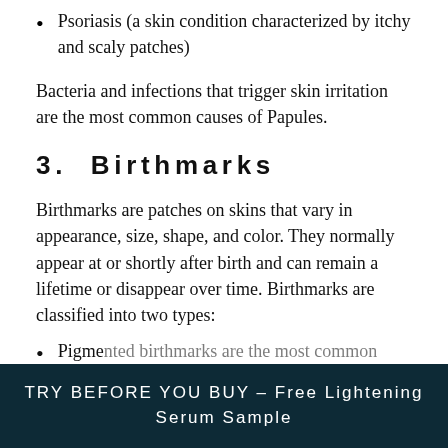Psoriasis (a skin condition characterized by itchy and scaly patches)
Bacteria and infections that trigger skin irritation are the most common causes of Papules.
3.  Birthmarks
Birthmarks are patches on skins that vary in appearance, size, shape, and color. They normally appear at or shortly after birth and can remain a lifetime or disappear over time. Birthmarks are classified into two types:
Pigmented birthmarks are the most common type of...
TRY BEFORE YOU BUY - Free Lightening Serum Sample